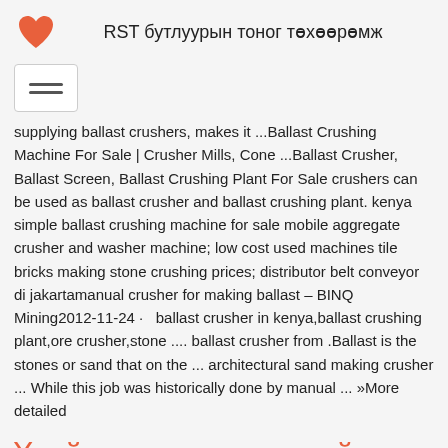RST бутлуурын тоног төхөөрөмж
supplying ballast crushers, makes it ...Ballast Crushing Machine For Sale | Crusher Mills, Cone ...Ballast Crusher, Ballast Screen, Ballast Crushing Plant For Sale crushers can be used as ballast crusher and ballast crushing plant. kenya simple ballast crushing machine for sale mobile aggregate crusher and washer machine; low cost used machines tile bricks making stone crushing prices; distributor belt conveyor di jakartamanual crusher for making ballast – BINQ Mining2012-11-24 · ballast crusher in kenya,ballast crushing plant,ore crusher,stone .... ballast crusher from .Ballast is the stones or sand that on the ... architectural sand making crusher ... While this job was historically done by manual ... »More detailed
Үнийн санал асуугаарай